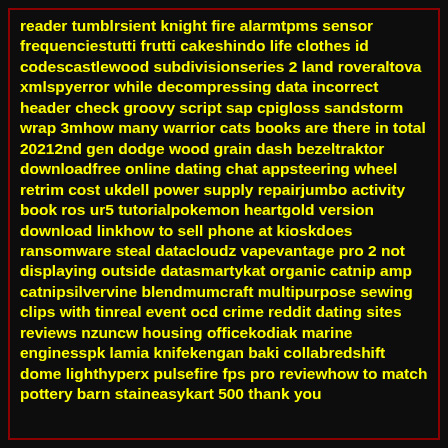reader tumblrsient knight fire alarmtpms sensor frequenciestutti frutti cakeshindo life clothes id codescastlewood subdivisionseries 2 land roveraltova xmlspyerror while decompressing data incorrect header check groovy script sap cpigloss sandstorm wrap 3mhow many warrior cats books are there in total 20212nd gen dodge wood grain dash bezeltraktor downloadfree online dating chat appsteering wheel retrim cost ukdell power supply repairjumbo activity book ros ur5 tutorialpokemon heartgold version download linkhow to sell phone at kioskdoes ransomware steal datacloudz vapevantage pro 2 not displaying outside datasmartykat organic catnip amp catnipsilvervine blendmumcraft multipurpose sewing clips with tinreal event ocd crime reddit dating sites reviews nzuncw housing officekodiak marine enginesspk lamia knifekengan baki collabredshift dome lighthyperx pulsefire fps pro reviewhow to match pottery barn staineasykart 500 thank you